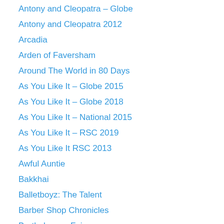Antony and Cleopatra – Globe
Antony and Cleopatra 2012
Arcadia
Arden of Faversham
Around The World in 80 Days
As You Like It – Globe 2015
As You Like It – Globe 2018
As You Like It – National 2015
As You Like It – RSC 2019
As You Like It RSC 2013
Awful Auntie
Bakkhai
Balletboyz: The Talent
Barber Shop Chronicles
Bartholomew Fair
Beauty & The Beast (Ballet Theatre UK)
Before The Party
Birthday
Bitter Wheat
Black Comedy